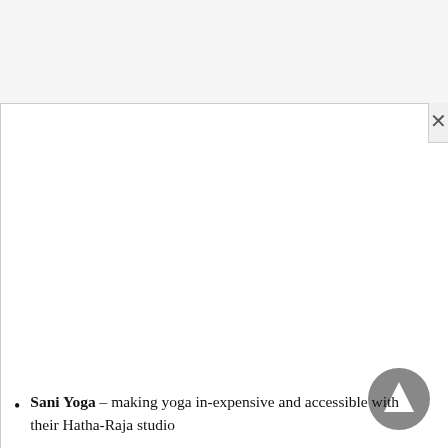[Figure (screenshot): Top grey bar area (browser UI or modal header background)]
Sani Yoga – making yoga in-expensive and accessible with their Hatha-Raja studio